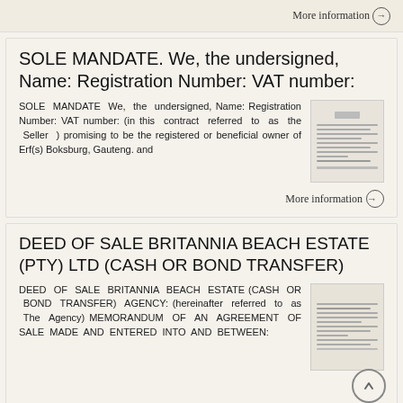More information →
SOLE MANDATE. We, the undersigned, Name: Registration Number: VAT number:
SOLE MANDATE We, the undersigned, Name: Registration Number: VAT number: (in this contract referred to as the Seller ) promising to be the registered or beneficial owner of Erf(s) Boksburg, Gauteng. and
More information →
DEED OF SALE BRITANNIA BEACH ESTATE (PTY) LTD (CASH OR BOND TRANSFER)
DEED OF SALE BRITANNIA BEACH ESTATE (CASH OR BOND TRANSFER) AGENCY: (hereinafter referred to as The Agency) MEMORANDUM OF AN AGREEMENT OF SALE MADE AND ENTERED INTO AND BETWEEN: